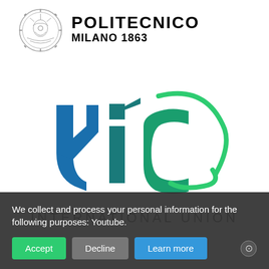[Figure (logo): Politecnico di Milano seal and wordmark: circular engraved seal on left, bold text POLITECNICO and MILANO 1863 on right]
[Figure (logo): UIC International Union of Railways logo: stylized letters y, i, c in blue and teal with green swoosh arc]
INTERNATIONAL UNION
We collect and process your personal information for the following purposes: Youtube.
Accept
Decline
Learn more